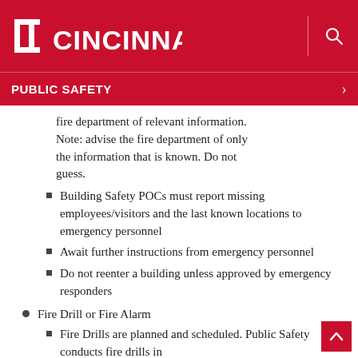UC CINCINNATI | PUBLIC SAFETY
fire department of relevant information. Note: advise the fire department of only the information that is known. Do not guess.
Building Safety POCs must report missing employees/visitors and the last known locations to emergency personnel
Await further instructions from emergency personnel
Do not reenter a building unless approved by emergency responders
Fire Drill or Fire Alarm
Fire Drills are planned and scheduled. Public Safety conducts fire drills in